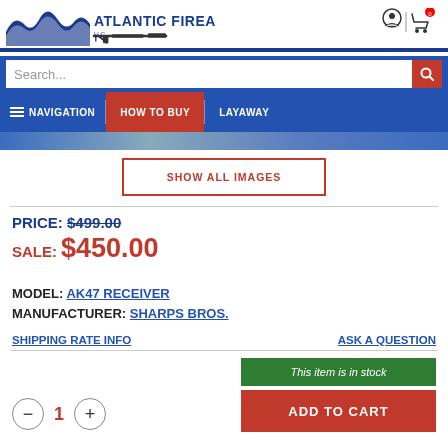[Figure (logo): Atlantic Firearms logo with wave graphic and AK-47 silhouette, plus user and cart icons]
Search...
NAVIGATION | HOW TO BUY | LAYAWAY
SHOW ALL IMAGES
PRICE: $499.00
SALE: $450.00
MODEL: AK47 RECEIVER
MANUFACTURER: SHARPS BROS.
SHIPPING RATE INFO
ASK A QUESTION
This item is in stock
1
ADD TO CART